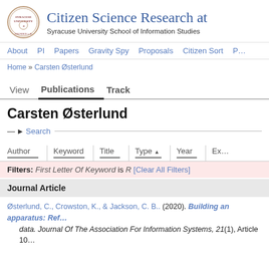Citizen Science Research at Syracuse University School of Information Studies
About   PI   Papers   Gravity Spy   Proposals   Citizen Sort   P…
Home » Carsten Østerlund
View   Publications   Track
Carsten Østerlund
— ▶ Search ——
Author | Keyword | Title | Type ▲ | Year | Ex…
Filters: First Letter Of Keyword is R [Clear All Filters]
Journal Article
Østerlund, C., Crowston, K., & Jackson, C. B.. (2020). Building an apparatus: Ref… data. Journal Of The Association For Information Systems, 21(1), Article 10…